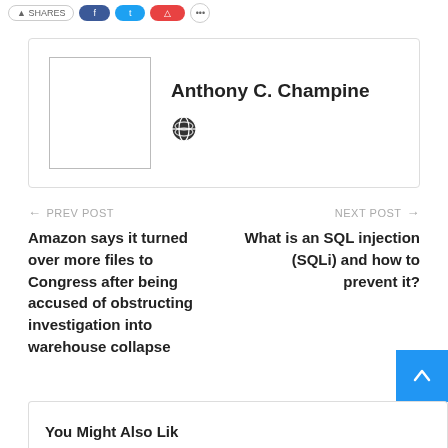[Figure (screenshot): Social sharing buttons: Shares, Facebook (blue), Twitter (light blue), Reddit (red), More (circle)]
Anthony C. Champine
[Figure (illustration): Globe/web icon]
← PREV POST
Amazon says it turned over more files to Congress after being accused of obstructing investigation into warehouse collapse
NEXT POST →
What is an SQL injection (SQLi) and how to prevent it?
[Figure (screenshot): Blue scroll-to-top button with up arrow]
You Might Also Like